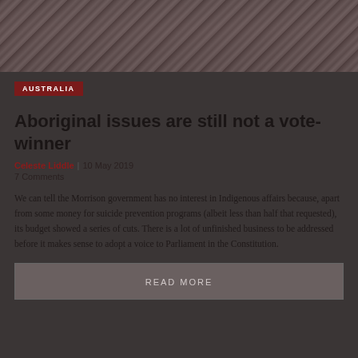[Figure (photo): Cropped photo strip of a person, partially visible, dark reddish-brown toned background]
AUSTRALIA
Aboriginal issues are still not a vote-winner
Celeste Liddle | 10 May 2019
7 Comments
We can tell the Morrison government has no interest in Indigenous affairs because, apart from some money for suicide prevention programs (albeit less than half that requested), its budget showed a series of cuts. There is a lot of unfinished business to be addressed before it makes sense to adopt a voice to Parliament in the Constitution.
READ MORE